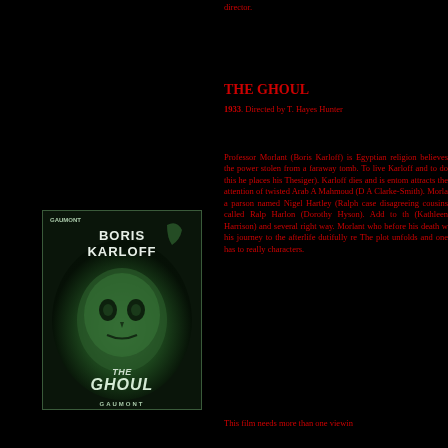director.
THE GHOUL
1933. Directed by T. Hayes Hunter
Professor Morlant (Boris Karloff) is Egyptian religion believes the power stolen from a faraway tomb. To live Karloff and to do this he places his Thesiger). Karloff dies and is entom attracts the attention of twisted Arab A Mahmoud (D A Clarke-Smith). Morla a parson named Nigel Hartley (Ralph case disagreeing cousins called Ralp Harlon (Dorothy Hyson). Add to th (Kathleen Harrison) and several right way. Morlant who before his death w his journey to the afterlife dutifully re The plot unfolds and one has to really characters.
[Figure (photo): Movie poster for The Ghoul (1933) featuring Boris Karloff, green tinted, with text BORIS KARLOFF, THE GHOUL, GAUMONT]
This film needs more than one viewin